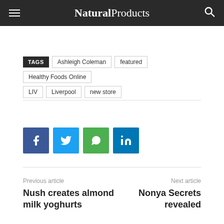Natural Products
TAGS: Ashleigh Coleman, featured, Healthy Foods Online, LIV, Liverpool, new store
[Figure (infographic): Social share buttons: Facebook (blue), Twitter (light blue), WhatsApp (green), LinkedIn (dark blue)]
Previous article
Nush creates almond milk yoghurts
Next article
Nonya Secrets revealed